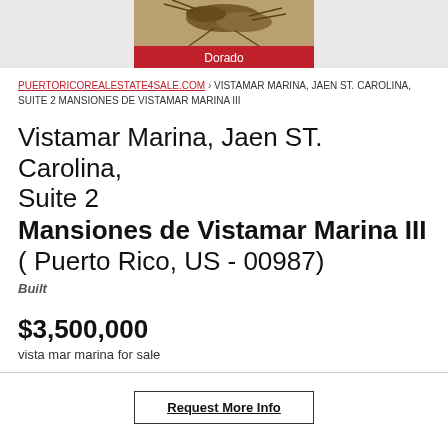[Figure (photo): Top banner showing a close-up photo of an insect on a red background with text 'Dorado']
PUERTORICOREALESTATE4SALE.COM › VISTAMAR MARINA, JAEN ST. CAROLINA, SUITE 2 MANSIONES DE VISTAMAR MARINA III
Vistamar Marina, Jaen ST. Carolina, Suite 2 Mansiones de Vistamar Marina III ( Puerto Rico, US - 00987)
Built
$3,500,000
vista mar marina for sale
Request More Info